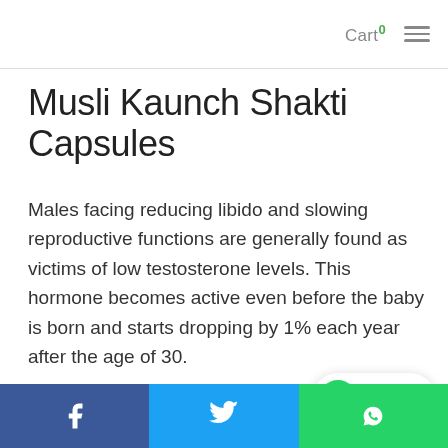Cart 0 ☰
Musli Kaunch Shakti Capsules
Males facing reducing libido and slowing reproductive functions are generally found as victims of low testosterone levels. This hormone becomes active even before the baby is born and starts dropping by 1% each year after the age of 30.
This is a vital hormone for males which plays a crucial role in determining male's interest in lovem… also his reproductive system's health.